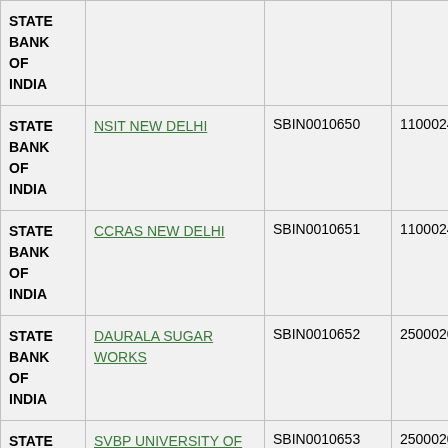| Bank | Branch | IFSC | MICR |
| --- | --- | --- | --- |
| STATE BANK OF INDIA |  |  |  |
| STATE BANK OF INDIA | NSIT NEW DELHI | SBIN0010650 | 110002449 |
| STATE BANK OF INDIA | CCRAS NEW DELHI | SBIN0010651 | 110002450 |
| STATE BANK OF INDIA | DAURALA SUGAR WORKS | SBIN0010652 | 250002026 |
| STATE BANK OF INDIA | SVBP UNIVERSITY OF AGR & TECHNOLOGY | SBIN0010653 | 250002059 |